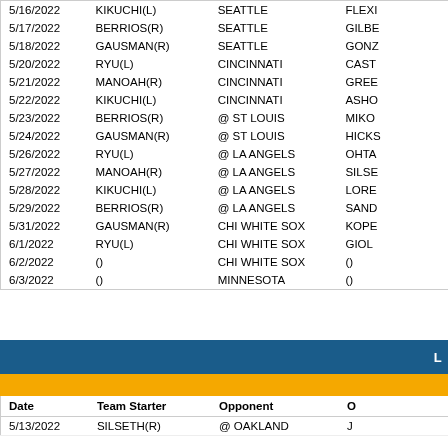| Date | Team Starter | Opponent | O |
| --- | --- | --- | --- |
| 5/16/2022 | KIKUCHI(L) | SEATTLE | FLEXI |
| 5/17/2022 | BERRIOS(R) | SEATTLE | GILBE |
| 5/18/2022 | GAUSMAN(R) | SEATTLE | GONZ |
| 5/20/2022 | RYU(L) | CINCINNATI | CAST |
| 5/21/2022 | MANOAH(R) | CINCINNATI | GREE |
| 5/22/2022 | KIKUCHI(L) | CINCINNATI | ASHO |
| 5/23/2022 | BERRIOS(R) | @ ST LOUIS | MIKO |
| 5/24/2022 | GAUSMAN(R) | @ ST LOUIS | HICKS |
| 5/26/2022 | RYU(L) | @ LA ANGELS | OHTA |
| 5/27/2022 | MANOAH(R) | @ LA ANGELS | SILSE |
| 5/28/2022 | KIKUCHI(L) | @ LA ANGELS | LORE |
| 5/29/2022 | BERRIOS(R) | @ LA ANGELS | SAND |
| 5/31/2022 | GAUSMAN(R) | CHI WHITE SOX | KOPE |
| 6/1/2022 | RYU(L) | CHI WHITE SOX | GIOL |
| 6/2/2022 | () | CHI WHITE SOX | () |
| 6/3/2022 | () | MINNESOTA | () |
| Date | Team Starter | Opponent | O |
| --- | --- | --- | --- |
| 5/13/2022 | SILSETH(R) | @ OAKLAND | J |